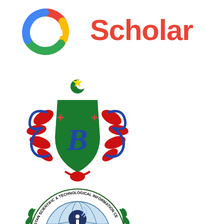[Figure (logo): Google Scholar logo with multicolored G icon and 'Scholar' text in red]
[Figure (logo): University crest/coat of arms with ornate red and blue decorative flourishes, green shield with monogram, and crescent moon with star at top]
[Figure (logo): PASTIC (Pakistan Scientific & Technological Information Centre) circular logo with globe, open book, laurel branches, and text around the border]